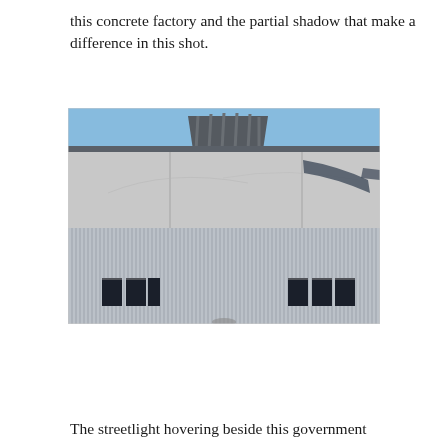this concrete factory and the partial shadow that make a difference in this shot.
[Figure (photo): Photograph of a concrete and corrugated metal factory building facade. The upper portion shows smooth concrete walls with a triangular skylight/rooftop structure and a dark shadow of a streetlight arm cast on the right side. The lower portion shows vertical corrugated metal cladding with two sets of small dark windows near the bottom left and bottom right. Blue sky visible at the top.]
The streetlight hovering beside this government